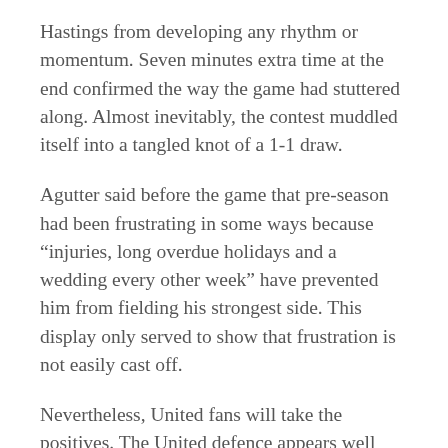Hastings from developing any rhythm or momentum. Seven minutes extra time at the end confirmed the way the game had stuttered along. Almost inevitably, the contest muddled itself into a tangled knot of a 1-1 draw.
Agutter said before the game that pre-season had been frustrating in some ways because "injuries, long overdue holidays and a wedding every other week" have prevented him from fielding his strongest side. This display only served to show that frustration is not easily cast off.
Nevertheless, United fans will take the positives. The United defence appears well organised. Keeper Rogers gives a sense of confidence to the men in front of him, and it is probably true that all strong teams are built upon such solid defensive foundations. New signing Dave Martin looks a quality player and Tom Chalmers showed some